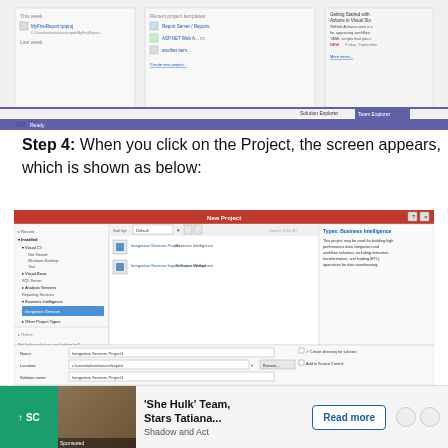[Figure (screenshot): Visual Studio Team Explorer screenshot showing recent project files and templates in the top portion of the page]
Step 4: When you click on the Project, the screen appears, which is shown as below:
[Figure (screenshot): Visual Studio New Project dialog showing Integration Services Project selected under Business Intelligence category with project name and location fields at the bottom]
[Figure (screenshot): Advertisement banner: 'She Hulk' Team, Stars Tatiana... Shadow and Act - Read more]